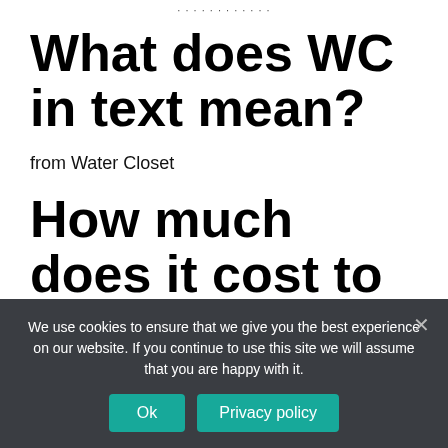...
What does WC in text mean?
from Water Closet
How much does it cost to send $1000
We use cookies to ensure that we give you the best experience on our website. If you continue to use this site we will assume that you are happy with it.